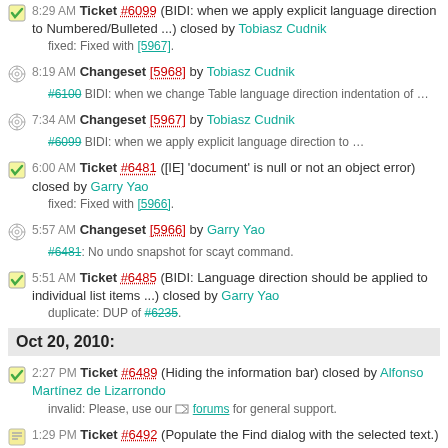8:29 AM Ticket #6099 (BIDI: when we apply explicit language direction to Numbered/Bulleted ...) closed by Tobiasz Cudnik fixed: Fixed with [5967].
8:19 AM Changeset [5968] by Tobiasz Cudnik #6100 BIDI: when we change Table language direction indentation of ...
7:34 AM Changeset [5967] by Tobiasz Cudnik #6099 BIDI: when we apply explicit language direction to ...
6:00 AM Ticket #6481 ([IE] 'document' is null or not an object error) closed by Garry Yao fixed: Fixed with [5966].
5:57 AM Changeset [5966] by Garry Yao #6481: No undo snapshot for scayt command.
5:51 AM Ticket #6485 (BIDI: Language direction should be applied to individual list items ...) closed by Garry Yao duplicate: DUP of #6235.
Oct 20, 2010:
2:27 PM Ticket #6489 (Hiding the information bar) closed by Alfonso Martínez de Lizarrondo invalid: Please, use our forums for general support.
1:29 PM Ticket #6492 (Populate the Find dialog with the selected text.) created by Joe Kavanagh